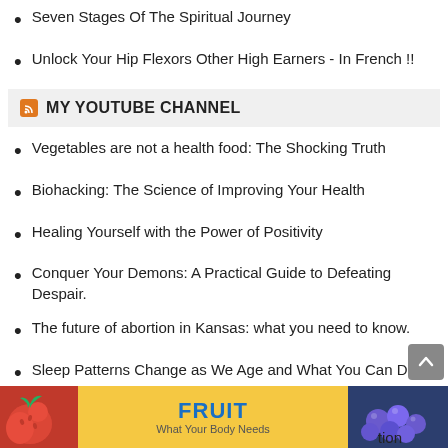Seven Stages Of The Spiritual Journey
Unlock Your Hip Flexors Other High Earners - In French !!
MY YOUTUBE CHANNEL
Vegetables are not a health food: The Shocking Truth
Biohacking: The Science of Improving Your Health
Healing Yourself with the Power of Positivity
Conquer Your Demons: A Practical Guide to Defeating Despair.
The future of abortion in Kansas: what you need to know.
Sleep Patterns Change as We Age and What You Can Do
Your Resting Heart Rate Could Mean Trouble Ahead.
[Figure (infographic): Advertisement banner for FRUIT - What Your Body Needs with images of strawberries and blueberries on yellow background]
tion